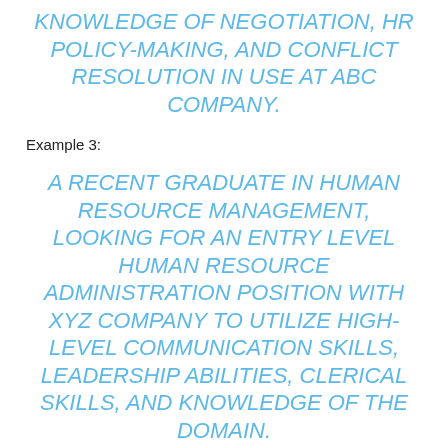KNOWLEDGE OF NEGOTIATION, HR POLICY-MAKING, AND CONFLICT RESOLUTION IN USE AT ABC COMPANY.
Example 3:
A RECENT GRADUATE IN HUMAN RESOURCE MANAGEMENT, LOOKING FOR AN ENTRY LEVEL HUMAN RESOURCE ADMINISTRATION POSITION WITH XYZ COMPANY TO UTILIZE HIGH-LEVEL COMMUNICATION SKILLS, LEADERSHIP ABILITIES, CLERICAL SKILLS, AND KNOWLEDGE OF THE DOMAIN.